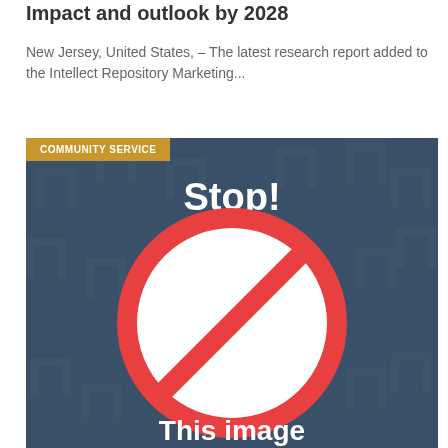Impact and outlook by 2028
New Jersey, United States, – The latest research report added to the Intellect Repository Marketing...
[Figure (illustration): Dark blue background with watermark pattern, a red prohibition/stop sign circle with diagonal line, white text 'Stop!' at top, 'COMMUNITY SERVICE' badge in gold/amber at top-left, and partial text 'This image' visible at bottom.]